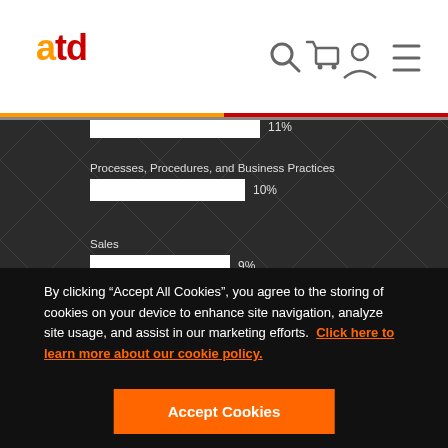ATD logo and navigation bar
[Figure (bar-chart): Training Topics (partial)]
By clicking “Accept All Cookies”, you agree to the storing of cookies on your device to enhance site navigation, analyze site usage, and assist in our marketing efforts. Click here to learn more about our cookie policy.
Accept Cookies